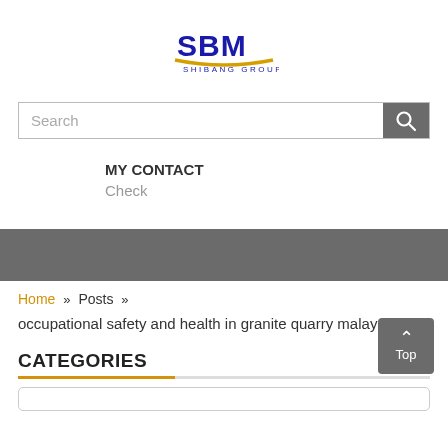[Figure (logo): SBM Shibang Group logo with blue text SBM and yellow underline, SHIBANG GROUP text below]
Search
MY CONTACT
Check
Home » Posts »
occupational safety and health in granite quarry malaysia
CATEGORIES